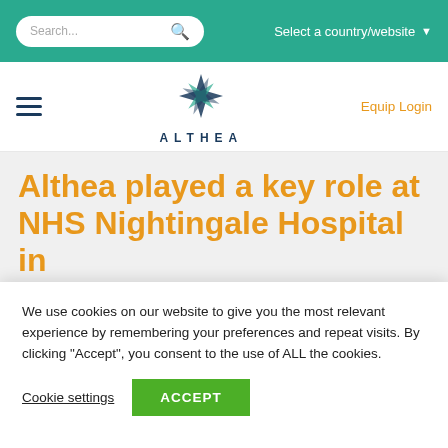Search... | Select a country/website
[Figure (logo): Althea company logo — star/snowflake shape in teal and dark blue above the text ALTHEA in spaced dark blue capitals]
Equip Login
Althea played a key role at NHS Nightingale Hospital in
We use cookies on our website to give you the most relevant experience by remembering your preferences and repeat visits. By clicking “Accept”, you consent to the use of ALL the cookies.
Cookie settings
ACCEPT